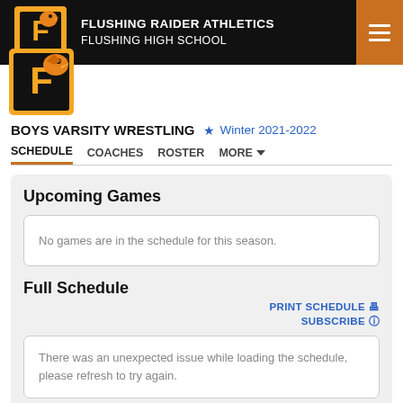FLUSHING RAIDER ATHLETICS FLUSHING HIGH SCHOOL
[Figure (logo): Flushing Raiders mascot logo - orange and black bird/raider with letter F]
BOYS VARSITY WRESTLING
Winter 2021-2022
SCHEDULE   COACHES   ROSTER   MORE
Upcoming Games
No games are in the schedule for this season.
Full Schedule
PRINT SCHEDULE
SUBSCRIBE
There was an unexpected issue while loading the schedule, please refresh to try again.